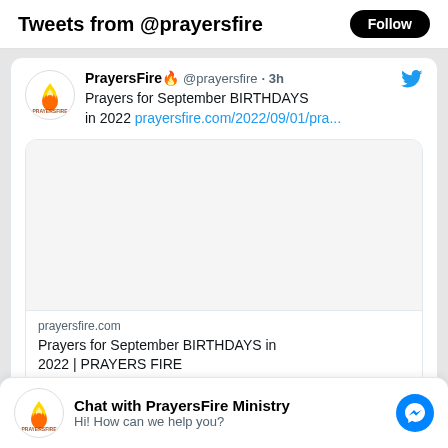Tweets from @prayersfire
PrayersFire 🔥 @prayersfire · 3h
Prayers for September BIRTHDAYS in 2022 prayersfire.com/2022/09/01/pra...
[Figure (screenshot): Empty link preview image area for prayersfire.com article]
prayersfire.com
Prayers for September BIRTHDAYS in 2022 | PRAYERS FIRE
Chat with PrayersFire Ministry
Hi! How can we help you?